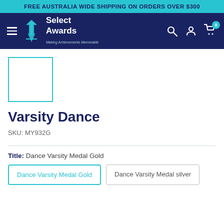FREE AUSTRALIA WIDE SHIPPING ON ORDERS OVER $300
[Figure (logo): Select Awards logo with hamburger menu icon on navy background, search, account, and cart icons on right]
[Figure (other): Product thumbnail placeholder box with teal border]
Varsity Dance
SKU: MY932G
Title: Dance Varsity Medal Gold
Dance Varsity Medal Gold
Dance Varsity Medal silver